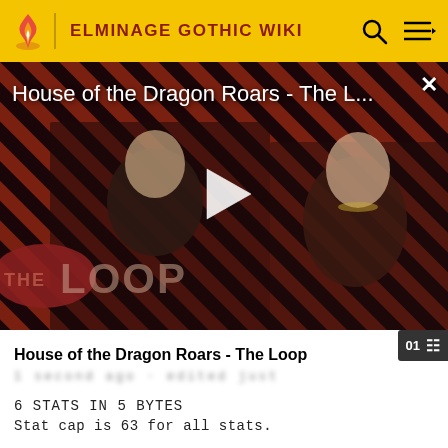ELMINAGE GOTHIC WIKI
[Figure (screenshot): Video thumbnail for 'House of the Dragon Roars - The L...' showing two characters on a red/black striped background with 'THE LOOP' watermark and a white play button in the center. A close (X) button is in the top right.]
House of the Dragon Roars - The Loop
6 STATS IN 5 BYTES
Stat cap is 63 for all stats.